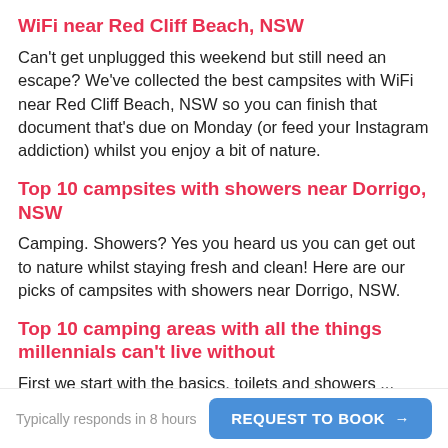WiFi near Red Cliff Beach, NSW
Can't get unplugged this weekend but still need an escape? We've collected the best campsites with WiFi near Red Cliff Beach, NSW so you can finish that document that's due on Monday (or feed your Instagram addiction) whilst you enjoy a bit of nature.
Top 10 campsites with showers near Dorrigo, NSW
Camping. Showers? Yes you heard us you can get out to nature whilst staying fresh and clean! Here are our picks of campsites with showers near Dorrigo, NSW.
Top 10 camping areas with all the things millennials can't live without
First we start with the basics, toilets and showers ... then we move on to some more fancy things like cafe's and BBQ areas and finally, if you're lucky, some of the
Typically responds in 8 hours   REQUEST TO BOOK →